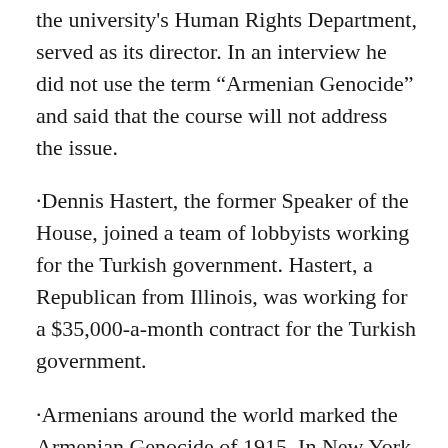the university's Human Rights Department, served as its director. In an interview he did not use the term “Armenian Genocide” and said that the course will not address the issue.
·Dennis Hastert, the former Speaker of the House, joined a team of lobbyists working for the Turkish government. Hastert, a Republican from Illinois, was working for a $35,000-a-month contract for the Turkish government.
·Armenians around the world marked the Armenian Genocide of 1915. In New York, tens of thousands gathered in Times Square. In Boston, Armenian-Americans gathered on April 17 in the State House, in a program which paid tribute to the late George Keverian, who had started the annual